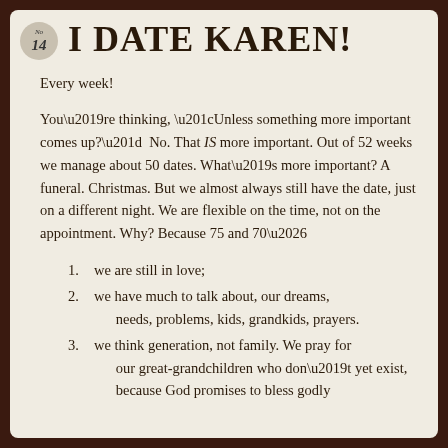No 14
I DATE KAREN!
Every week!
You're thinking, “Unless something more important comes up?”  No. That IS more important. Out of 52 weeks we manage about 50 dates. What’s more important? A funeral. Christmas. But we almost always still have the date, just on a different night. We are flexible on the time, not on the appointment. Why? Because 75 and 70…
we are still in love;
we have much to talk about, our dreams, needs, problems, kids, grandkids, prayers.
we think generation, not family. We pray for our great-grandchildren who don’t yet exist, because God promises to bless godly